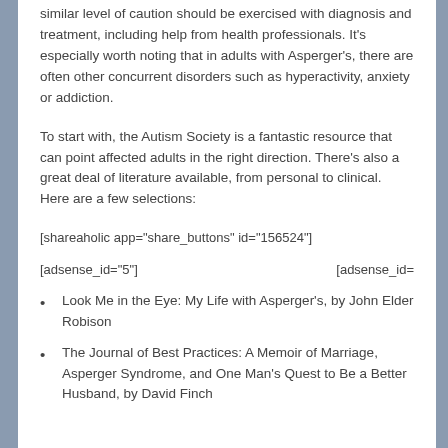similar level of caution should be exercised with diagnosis and treatment, including help from health professionals. It's especially worth noting that in adults with Asperger's, there are often other concurrent disorders such as hyperactivity, anxiety or addiction.
To start with, the Autism Society is a fantastic resource that can point affected adults in the right direction. There's also a great deal of literature available, from personal to clinical. Here are a few selections:
[shareaholic app="share_buttons" id="156524"]
[adsense_id="5"]   [adsense_id="0"]
Look Me in the Eye: My Life with Asperger's, by John Elder Robison
The Journal of Best Practices: A Memoir of Marriage, Asperger Syndrome, and One Man's Quest to Be a Better Husband, by David Finch